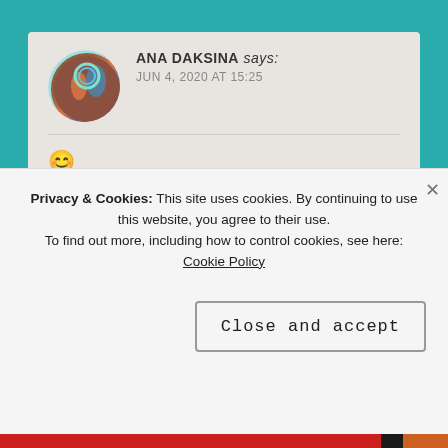ANA DAKSINA says: JUN 4, 2020 AT 15:25
[Figure (illustration): Smiley face emoji 😊]
★ Liked by 1 person
↪ Reply
[Figure (photo): Red and black product image at top of lower section]
Privacy & Cookies: This site uses cookies. By continuing to use this website, you agree to their use.
To find out more, including how to control cookies, see here: Cookie Policy
Close and accept